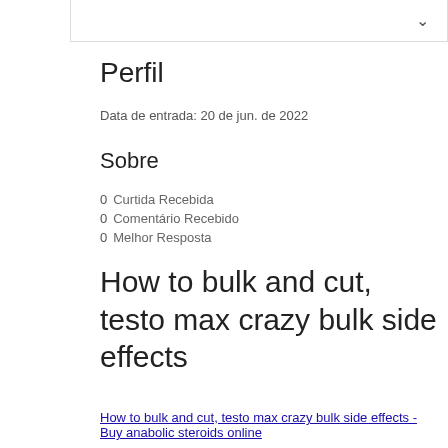Perfil
Data de entrada: 20 de jun. de 2022
Sobre
0 Curtida Recebida
0 Comentário Recebido
0 Melhor Resposta
How to bulk and cut, testo max crazy bulk side effects
How to bulk and cut, testo max crazy bulk side effects - Buy anabolic steroids online